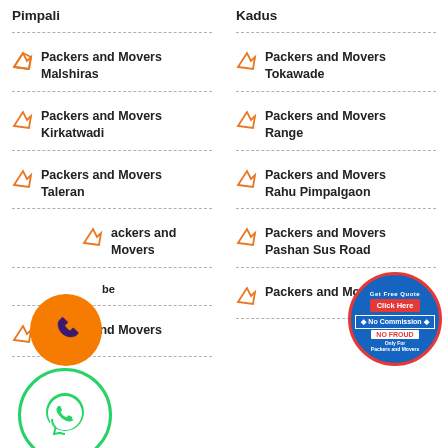Pimpali
Packers and Movers Malshiras
Packers and Movers Kirkatwadi
Packers and Movers Taleran
Packers and Movers [be]
Packers and Movers
Kadus
Packers and Movers Tokawade
Packers and Movers Range
Packers and Movers Rahu Pimpalgaon
Packers and Movers Pashan Sus Road
Packers and Movers